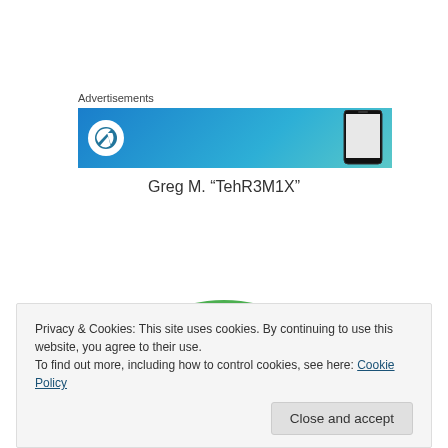Advertisements
[Figure (screenshot): WordPress advertisement banner with blue gradient background, WordPress circular logo on the left, and a phone mockup on the right]
Greg M. "TehR3M1X"
[Figure (illustration): Cartoon avatar of a young person wearing a green and yellow cap, glasses, and gloves, adjusting their cap with a smirk]
Privacy & Cookies: This site uses cookies. By continuing to use this website, you agree to their use.
To find out more, including how to control cookies, see here: Cookie Policy
Close and accept